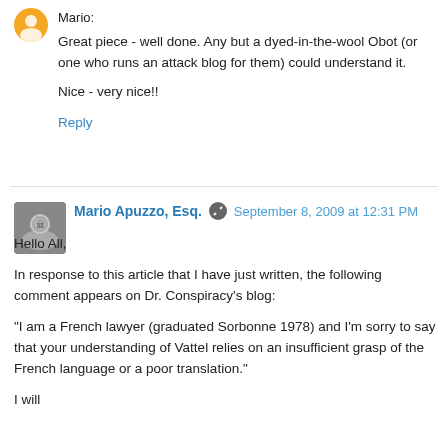Mario:
Great piece - well done. Any but a dyed-in-the-wool Obot (or one who runs an attack blog for them) could understand it.
Nice - very nice!!
Reply
Mario Apuzzo, Esq.   September 8, 2009 at 12:31 PM
Hello All,
In response to this article that I have just written, the following comment appears on Dr. Conspiracy's blog:
"I am a French lawyer (graduated Sorbonne 1978) and I'm sorry to say that your understanding of Vattel relies on an insufficient grasp of the French language or a poor translation."
I will...